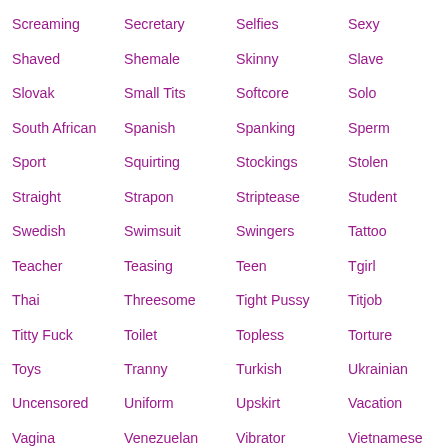Screaming
Secretary
Selfies
Sexy
Shaved
Shemale
Skinny
Slave
Slovak
Small Tits
Softcore
Solo
South African
Spanish
Spanking
Sperm
Sport
Squirting
Stockings
Stolen
Straight
Strapon
Striptease
Student
Swedish
Swimsuit
Swingers
Tattoo
Teacher
Teasing
Teen
Tgirl
Thai
Threesome
Tight Pussy
Titjob
Titty Fuck
Toilet
Topless
Torture
Toys
Tranny
Turkish
Ukrainian
Uncensored
Uniform
Upskirt
Vacation
Vagina
Venezuelan
Vibrator
Vietnamese